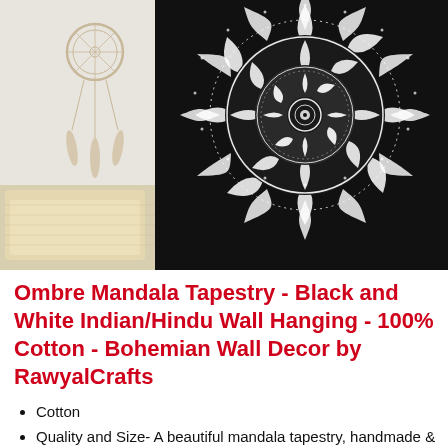[Figure (photo): Product photo showing a black tapestry with a large white ombre mandala design hung on a wall, with a dreamcatcher on the left side and cream/golden pillows in the foreground.]
Ombre Mandala Tapestry - Black and White Indian/Hindu Wall Hanging - 100% Cotton - Bohemian Wall Decor by RawyalCrafts
Cotton
Quality and Size- A beautiful mandala tapestry, handmade & printed and made of 100% pure cotton. Good, tight power loom construction.